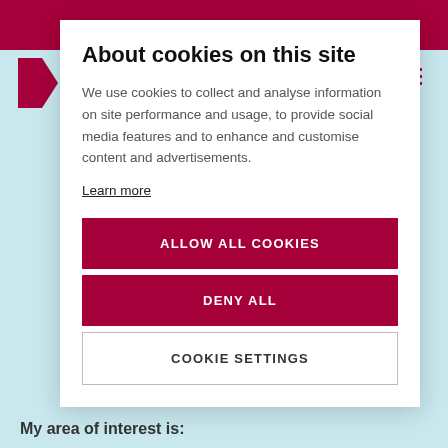About cookies on this site
We use cookies to collect and analyse information on site performance and usage, to provide social media features and to enhance and customise content and advertisements.
Learn more
ALLOW ALL COOKIES
DENY ALL
COOKIE SETTINGS
My area of interest is: